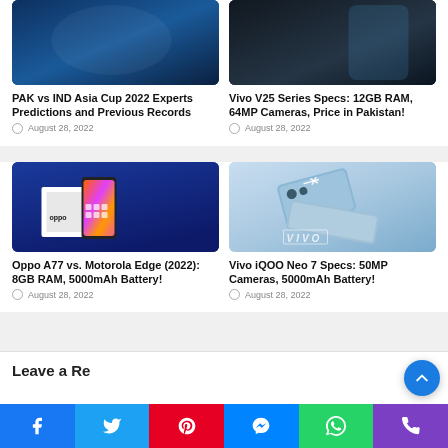[Figure (screenshot): Cropped image of Pakistan vs India cricket - dark blue tones]
PAK vs IND Asia Cup 2022 Experts Predictions and Previous Records
August 28, 2022
[Figure (screenshot): Cropped image of Vivo V25 phone - dark background]
Vivo V25 Series Specs: 12GB RAM, 64MP Cameras, Price in Pakistan!
August 28, 2022
[Figure (photo): Oppo A77 phone coming out of white box on blue background with colorful display]
Oppo A77 vs. Motorola Edge (2022): 8GB RAM, 5000mAh Battery!
August 28, 2022
[Figure (photo): Vivo iQOO Neo 7 phones in light blue color crossed on white background with Vivo logo]
Vivo iQOO Neo 7 Specs: 50MP Cameras, 5000mAh Battery!
August 28, 2022
Leave a Reply